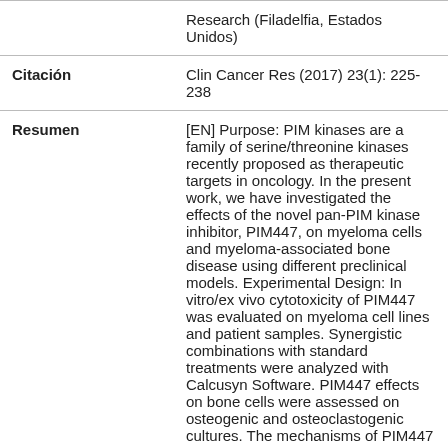Research (Filadelfia, Estados Unidos)
Citación
Clin Cancer Res (2017) 23(1): 225-238
Resumen
[EN] Purpose: PIM kinases are a family of serine/threonine kinases recently proposed as therapeutic targets in oncology. In the present work, we have investigated the effects of the novel pan-PIM kinase inhibitor, PIM447, on myeloma cells and myeloma-associated bone disease using different preclinical models. Experimental Design: In vitro/ex vivo cytotoxicity of PIM447 was evaluated on myeloma cell lines and patient samples. Synergistic combinations with standard treatments were analyzed with Calcusyn Software. PIM447 effects on bone cells were assessed on osteogenic and osteoclastogenic cultures. The mechanisms of PIM447